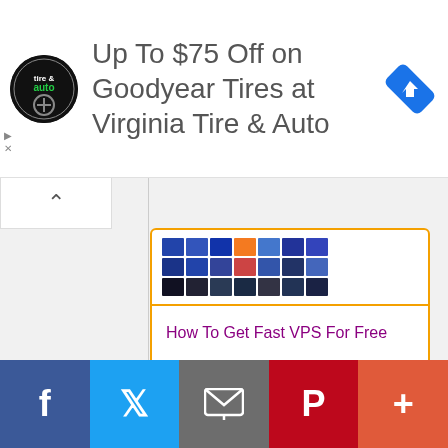[Figure (screenshot): Advertisement banner: Virginia Tire & Auto logo, text 'Up To $75 Off on Goodyear Tires at Virginia Tire & Auto', and a blue navigation direction icon on the right. Small play and close icons on left side.]
[Figure (screenshot): Thumbnail image grid showing multiple small colored screenshots arranged in a 7x3 grid.]
How To Get Fast VPS For Free
The Ultimate Has Cracking Guide For Beginners